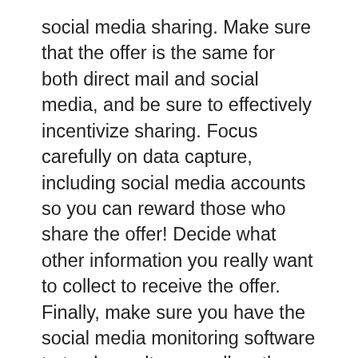social media sharing. Make sure that the offer is the same for both direct mail and social media, and be sure to effectively incentivize sharing. Focus carefully on data capture, including social media accounts so you can reward those who share the offer! Decide what other information you really want to collect to receive the offer. Finally, make sure you have the social media monitoring software to track results, as well as the direct mail response tracking.
Case Studies That Inspire Emulation
Gould's article offers two case studies that should inspire emulation. First, Chick-fil-A, which wanted to both build its customer database and increase store traffic, launched a direct mail campaign of 5,000